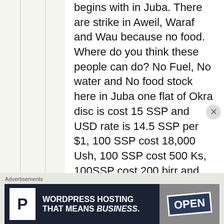begins with in Juba. There are strike in Aweil, Waraf and Wau because no food. Where do you think these people can do? No Fuel, No water and No food stock here in Juba one flat of Okra disc is cost 15 SSP and USD rate is 14.5 SSP per $1, 100 SSP cost 18,000 Ush, 100 SSP cost 500 Ks, 100SSP cost 200 birr and 100 SSP cost 60 SP where do you think you can run with you so called Dinka Kingdom ruled by
Advertisements
[Figure (infographic): Advertisement banner for WordPress Hosting with dark blue background, white P logo, text 'WORDPRESS HOSTING THAT MEANS BUSINESS.' and an OPEN sign image on the right]